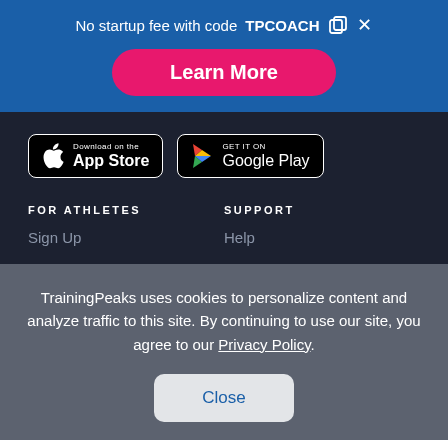No startup fee with code TPCOACH
Learn More
[Figure (logo): Download on the App Store button]
[Figure (logo): Get it on Google Play button]
FOR ATHLETES
SUPPORT
Sign Up
Help
TrainingPeaks uses cookies to personalize content and analyze traffic to this site. By continuing to use our site, you agree to our Privacy Policy.
Close